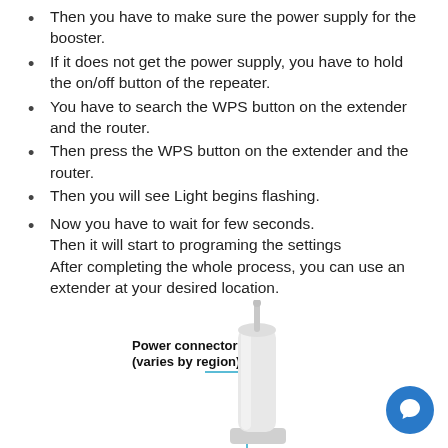Then you have to make sure the power supply for the booster.
If it does not get the power supply, you have to hold the on/off button of the repeater.
You have to search the WPS button on the extender and the router.
Then press the WPS button on the extender and the router.
Then you will see Light begins flashing.
Now you have to wait for few seconds. Then it will start to programing the settings After completing the whole process, you can use an extender at your desired location.
[Figure (illustration): Diagram of a WiFi extender device with a label pointing to 'Power connector (varies by region)'. The device appears as a tall white cylindrical unit with an antenna. A light blue vertical line indicates the power connector location.]